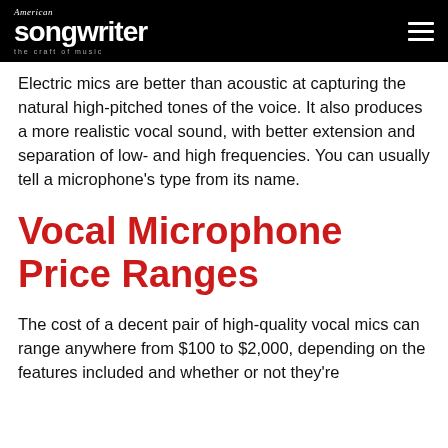American Songwriter — the craft of music
Electric mics are better than acoustic at capturing the natural high-pitched tones of the voice. It also produces a more realistic vocal sound, with better extension and separation of low- and high frequencies. You can usually tell a microphone's type from its name.
Vocal Microphone Price Ranges
The cost of a decent pair of high-quality vocal mics can range anywhere from $100 to $2,000, depending on the features included and whether or not they're